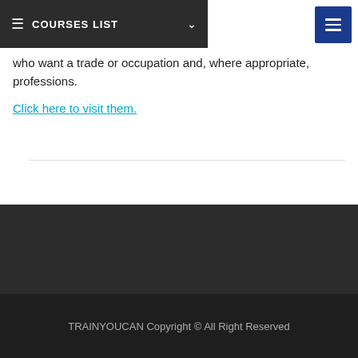COURSES LIST
who want a trade or occupation and, where appropriate, professions.
Click here to visit them.
TRAINYOUCAN Copyright © All Right Reserved